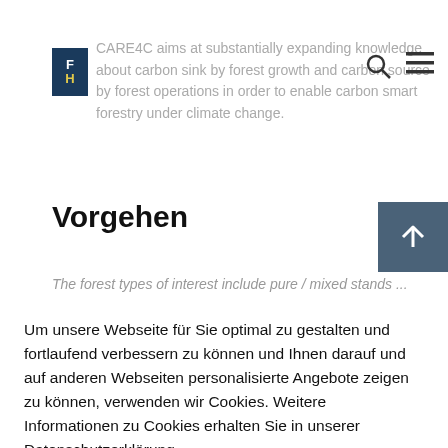CARE4C aims at substantially expanding knowledge about carbon sink by forest growth and carbon source by forest operations in order to enable carbon smart forestry under climate change.
Vorgehen
The forest types of interest include pure / mixed stands...
Um unsere Webseite für Sie optimal zu gestalten und fortlaufend verbessern zu können und Ihnen darauf und auf anderen Webseiten personalisierte Angebote zeigen zu können, verwenden wir Cookies. Weitere Informationen zu Cookies erhalten Sie in unserer Datenschutzerklärung.
Cookies akzeptieren